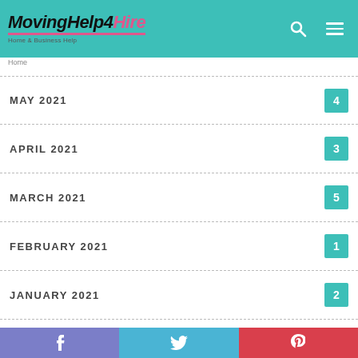MovingHelp4Hire — Home & Business Help
MAY 2021 — 4
APRIL 2021 — 3
MARCH 2021 — 5
FEBRUARY 2021 — 1
JANUARY 2021 — 2
DECEMBER 2020 — 2
NOVEMBER 2020 — 9
OCTOBER 2020 — 2
SEPTEMBER 2020 — 3
Facebook | Twitter | Pinterest